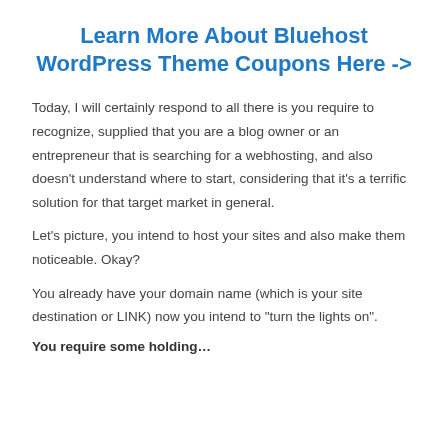Learn More About Bluehost WordPress Theme Coupons Here ->
Today, I will certainly respond to all there is you require to recognize, supplied that you are a blog owner or an entrepreneur that is searching for a webhosting, and also doesn't understand where to start, considering that it's a terrific solution for that target market in general.
Let's picture, you intend to host your sites and also make them noticeable. Okay?
You already have your domain name (which is your site destination or LINK) now you intend to "turn the lights on".
You require some holding…